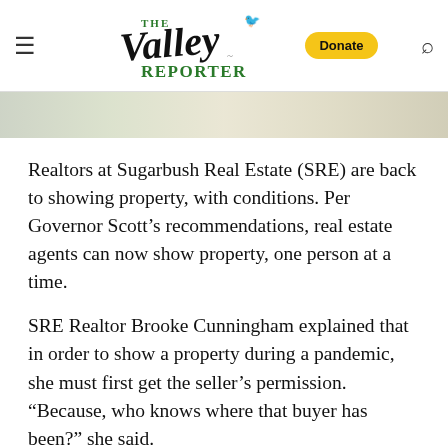The Valley Reporter
[Figure (photo): Partial blurred outdoor photo strip at top of article]
Realtors at Sugarbush Real Estate (SRE) are back to showing property, with conditions. Per Governor Scott’s recommendations, real estate agents can now show property, one person at a time.
SRE Realtor Brooke Cunningham explained that in order to show a property during a pandemic, she must first get the seller’s permission. “Because, who knows where that buyer has been?” she said.
“When we show property we can only take one person in at a time and everybody has to wear